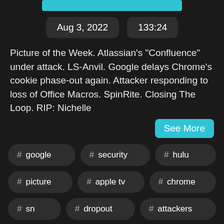[Figure (other): Teal/cyan horizontal progress or header bar at top]
Aug 3, 2022    133:24
Picture of the Week. Atlassian's "Confluence" under attack. LS-Anvil. Google delays Chrome's cookie phase-out again. Attacker responding to loss of Office Macros. SpinRite. Closing The Loop. RIP: Nichelle
See More
# google
# security
# hulu
# picture
# apple tv
# chrome
# sn
# dropout
# attackers
# atlassian
# confluence
# twit
# nine lives
# winamp